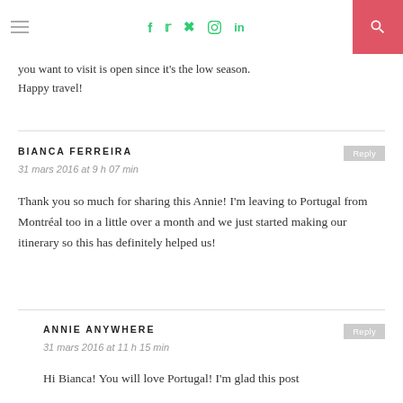Navigation header with hamburger menu, social icons (f, twitter, pinterest, in), and search button
you want to visit is open since it’s the low season. Happy travel!
BIANCA FERREIRA
31 mars 2016 at 9 h 07 min
Thank you so much for sharing this Annie! I’m leaving to Portugal from Montréal too in a little over a month and we just started making our itinerary so this has definitely helped us!
ANNIE ANYWHERE
31 mars 2016 at 11 h 15 min
Hi Bianca! You will love Portugal! I’m glad this post